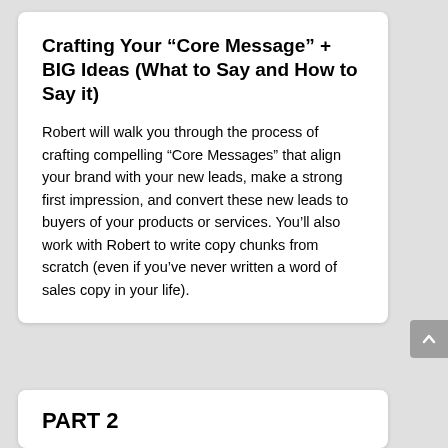Crafting Your “Core Message” + BIG Ideas (What to Say and How to Say it)
Robert will walk you through the process of crafting compelling “Core Messages” that align your brand with your new leads, make a strong first impression, and convert these new leads to buyers of your products or services. You’ll also work with Robert to write copy chunks from scratch (even if you’ve never written a word of sales copy in your life).
PART 2